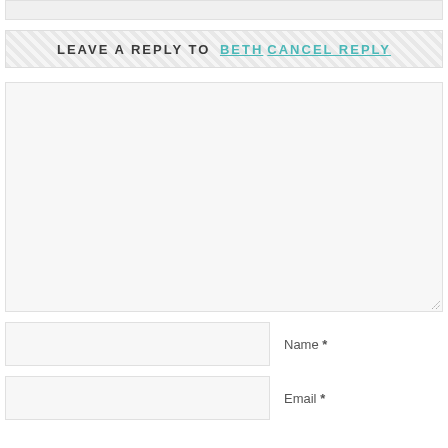LEAVE A REPLY TO BETH CANCEL REPLY
[Figure (other): Comment text area input box with resize handle]
Name *
Email *